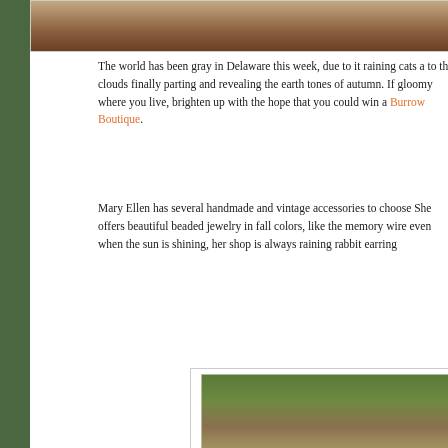[Figure (photo): Top partial image of what appears to be a rabbit or animal in brown/tan tones, cropped at top of page]
The world has been gray in Delaware this week, due to it raining cats a... to the clouds finally parting and revealing the earth tones of autumn. If gloomy where you live, brighten up with the hope that you could win a... Burrow Boutique.
Mary Ellen has several handmade and vintage accessories to choose... She offers beautiful beaded jewelry in fall colors, like the memory wire... even when the sun is shining, her shop is always raining rabbit earring...
[Figure (photo): Bunny Burrow Boutique banner image showing a rabbit in natural outdoor setting with grass and earth, with 'Bunny Burro' text overlay in orange]
Etsy
BunnyBurrowBoutique